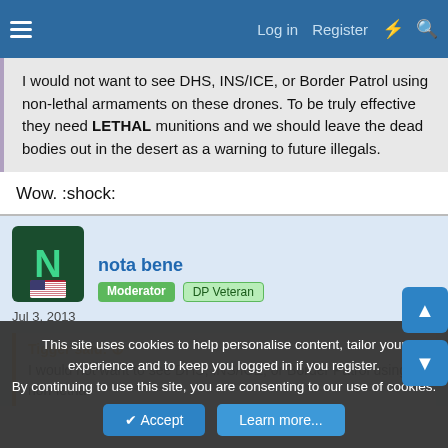Log in  Register
I would not want to see DHS, INS/ICE, or Border Patrol using non-lethal armaments on these drones. To be truly effective they need LETHAL munitions and we should leave the dead bodies out in the desert as a warning to future illegals.
Wow. :shock:
nota bene
Moderator  DP Veteran
Jul 3, 2013  #9
Tigger said:
I would not want to see DHS, INS/ICE, or Border Patrol using non-lethal
This site uses cookies to help personalise content, tailor your experience and to keep you logged in if you register.
By continuing to use this site, you are consenting to our use of cookies.